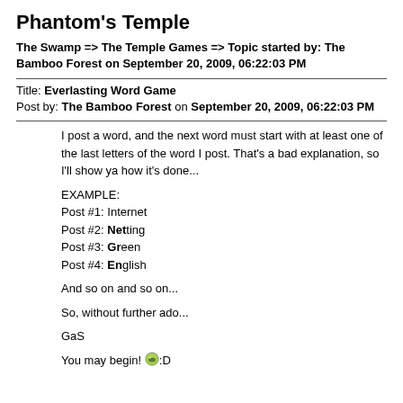Phantom's Temple
The Swamp => The Temple Games => Topic started by: The Bamboo Forest on September 20, 2009, 06:22:03 PM
Title: Everlasting Word Game
Post by: The Bamboo Forest on September 20, 2009, 06:22:03 PM
I post a word, and the next word must start with at least one of the last letters of the word I post. That's a bad explanation, so I'll show ya how it's done...

EXAMPLE:
Post #1: Internet
Post #2: Netting
Post #3: Green
Post #4: English

And so on and so on...

So, without further ado...

GaS

You may begin! :D